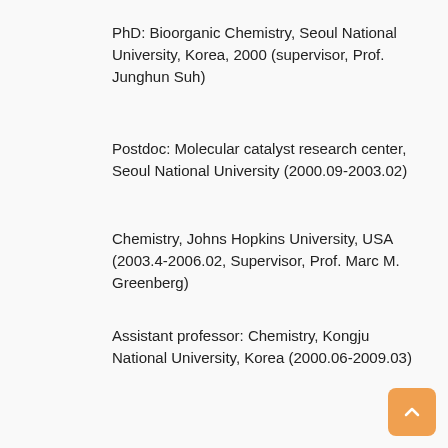PhD: Bioorganic Chemistry, Seoul National University, Korea, 2000 (supervisor, Prof. Junghun Suh)
Postdoc: Molecular catalyst research center, Seoul National University (2000.09-2003.02)
Chemistry, Johns Hopkins University, USA (2003.4-2006.02, Supervisor, Prof. Marc M. Greenberg)
Assistant professor: Chemistry, Kongju National University, Korea (2000.06-2009.03)
Associate Professor: Chemistry, Kongju National University, Korea (2009.04-20014.03)
Professor: Chemistry, Kongju National University, Korea (2014.04-present)
Academic research area: Synthesis of nucleic acid